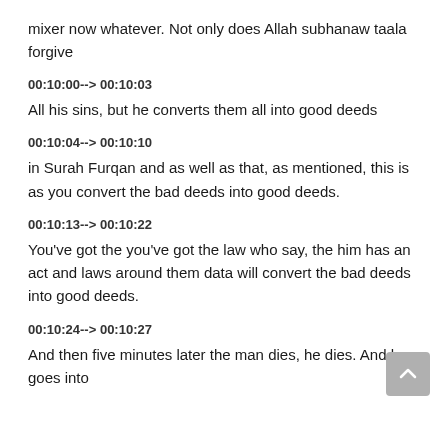mixer now whatever. Not only does Allah subhanaw taala forgive
00:10:00--> 00:10:03
All his sins, but he converts them all into good deeds
00:10:04--> 00:10:10
in Surah Furqan and as well as that, as mentioned, this is as you convert the bad deeds into good deeds.
00:10:13--> 00:10:22
You've got the you've got the law who say, the him has an act and laws around them data will convert the bad deeds into good deeds.
00:10:24--> 00:10:27
And then five minutes later the man dies, he dies. And he goes into